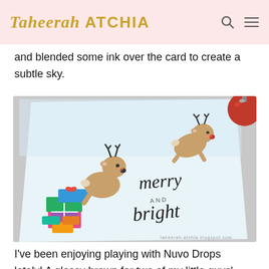Taheerah ATCHIA
and blended some ink over the card to create a subtle sky.
[Figure (photo): Close-up photo of a handmade Christmas card showing two cute illustrated reindeer. One reindeer stands on a pile of colorful wrapped presents, and another leaps above. The card reads 'merry AND bright' in handwritten-style lettering. The card appears to be on a light blue background with a red ornament visible in the top right corner.]
I've been enjoying playing with Nuvo Drops lately! A glossy brown for two of my little guys' noses,